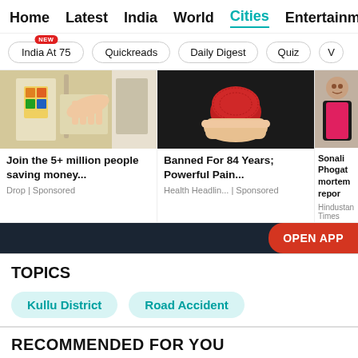Home | Latest | India | World | Cities | Entertainment
India At 75 [NEW] | Quickreads | Daily Digest | Quiz | V
[Figure (photo): Photo of person at gas station pump]
Join the 5+ million people saving money...
Drop | Sponsored
[Figure (photo): Photo of red round food item held in hand against dark background]
Banned For 84 Years; Powerful Pain...
Health Headlin... | Sponsored
[Figure (photo): Photo of woman in black outfit]
Sonali Phogat mortem repor
Hindustan Times
TOPICS
Kullu District
Road Accident
RECOMMENDED FOR YOU